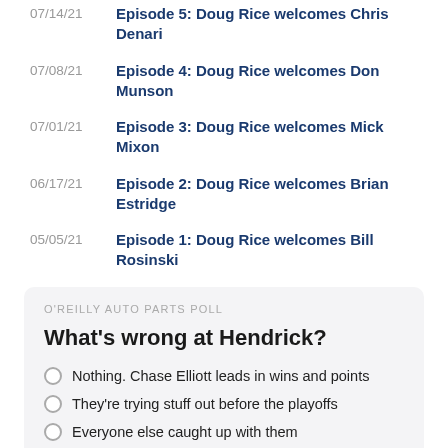07/14/21 Episode 5: Doug Rice welcomes Chris Denari
07/08/21 Episode 4: Doug Rice welcomes Don Munson
07/01/21 Episode 3: Doug Rice welcomes Mick Mixon
06/17/21 Episode 2: Doug Rice welcomes Brian Estridge
05/05/21 Episode 1: Doug Rice welcomes Bill Rosinski
O'REILLY AUTO PARTS POLL
What's wrong at Hendrick?
Nothing. Chase Elliott leads in wins and points
They're trying stuff out before the playoffs
Everyone else caught up with them
No veteran leadership